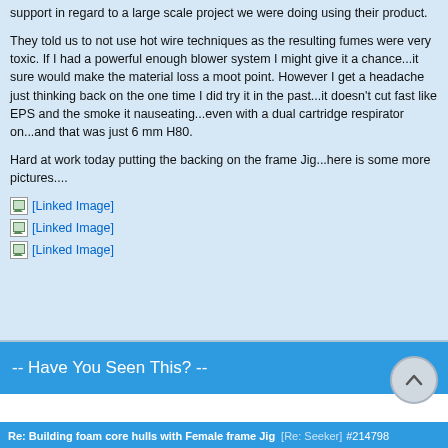support in regard to a large scale project we were doing using their product.
They told us to not use hot wire techniques as the resulting fumes were very toxic. If I had a powerful enough blower system I might give it a chance...it sure would make the material loss a moot point. However I get a headache just thinking back on the one time I did try it in the past...it doesn't cut fast like EPS and the smoke it nauseating...even with a dual cartridge respirator on...and that was just 6 mm H80.
Hard at work today putting the backing on the frame Jig...here is some more pictures....
[Figure (other): [Linked Image]]
[Figure (other): [Linked Image]]
[Figure (other): [Linked Image]]
-- Have You Seen This? --
Re: Building foam core hulls with Female frame Jig   [Re: Seeker]   #214798